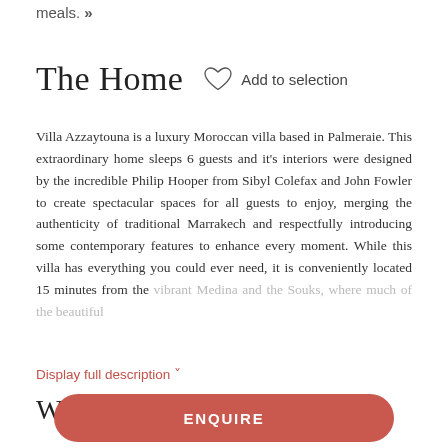meals. »
The Home
Add to selection
Villa Azzaytouna is a luxury Moroccan villa based in Palmeraie. This extraordinary home sleeps 6 guests and it's interiors were designed by the incredible Philip Hooper from Sibyl Colefax and John Fowler to create spectacular spaces for all guests to enjoy, merging the authenticity of traditional Marrakech and respectfully introducing some contemporary features to enhance every moment. While this villa has everything you could ever need, it is conveniently located 15 minutes from the vibrant Medina and the Souks, where much of the beautiful
Display full description ˅
What is Included
Alcoholic beverages
Beverages
Breakfast
ENQUIRE